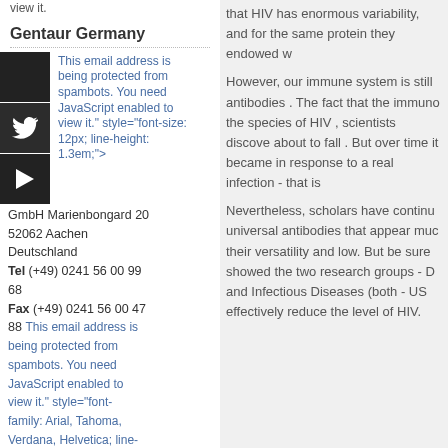view it.
Gentaur Germany
This email address is being protected from spambots. You need JavaScript enabled to view it." style="font-size: 12px; line-height: 1.3em;">
GmbH Marienbongard 20
52062 Aachen
Deutschland
Tel (+49) 0241 56 00 99 68
Fax (+49) 0241 56 00 47 88 This email address is being protected from spambots. You need JavaScript enabled to view it." style="font-family: Arial, Tahoma, Verdana, Helvetica; line-height: 15.59375px; ">
This email address is being protected from spambots. You need JavaScript enabled to
that HIV has enormous variability, and for the same protein they endowed w
However, our immune system is still antibodies . The fact that the immuno the species of HIV , scientists discove about to fall . But over time it became in response to a real infection - that is
Nevertheless, scholars have continu universal antibodies that appear muc their versatility and low. But be sure showed the two research groups - D and Infectious Diseases (both - US effectively reduce the level of HIV.